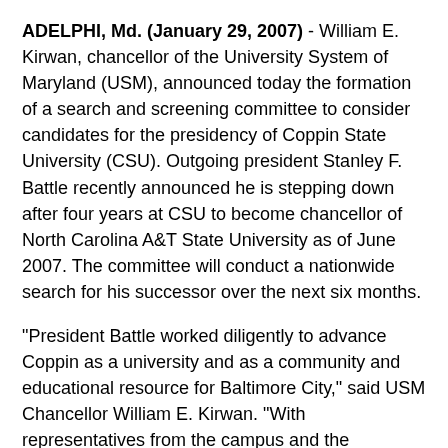ADELPHI, Md. (January 29, 2007) - William E. Kirwan, chancellor of the University System of Maryland (USM), announced today the formation of a search and screening committee to consider candidates for the presidency of Coppin State University (CSU). Outgoing president Stanley F. Battle recently announced he is stepping down after four years at CSU to become chancellor of North Carolina A&T State University as of June 2007. The committee will conduct a nationwide search for his successor over the next six months.
"President Battle worked diligently to advance Coppin as a university and as a community and educational resource for Baltimore City," said USM Chancellor William E. Kirwan. "With representatives from the campus and the surrounding community, the committee will seek the kind of leadership that best serves Coppin's vital and multifaceted role."
In accordance with the Board of Regents' "Guidelines for the Selection of Presidents," the committee will develop a